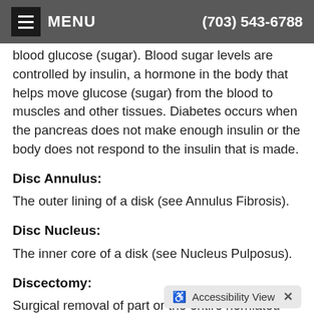MENU  (703) 543-6788
blood glucose (sugar). Blood sugar levels are controlled by insulin, a hormone in the body that helps move glucose (sugar) from the blood to muscles and other tissues. Diabetes occurs when the pancreas does not make enough insulin or the body does not respond to the insulin that is made.
Disc Annulus:
The outer lining of a disk (see Annulus Fibrosis).
Disc Nucleus:
The inner core of a disk (see Nucleus Pulposus).
Discectomy:
Surgical removal of part or the entire herniated intervertebral disc.
Diet: